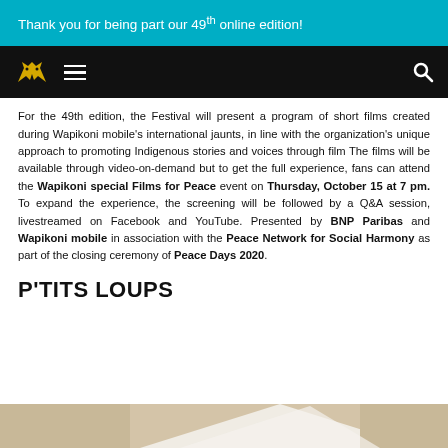Thank you for being part our 49th online edition!
[Figure (logo): Black navigation bar with yellow wolf logo, white hamburger menu icon on left, white search icon on right]
For the 49th edition, the Festival will present a program of short films created during Wapikoni mobile's international jaunts, in line with the organization's unique approach to promoting Indigenous stories and voices through film The films will be available through video-on-demand but to get the full experience, fans can attend the Wapikoni special Films for Peace event on Thursday, October 15 at 7 pm. To expand the experience, the screening will be followed by a Q&A session, livestreamed on Facebook and YouTube. Presented by BNP Paribas and Wapikoni mobile in association with the Peace Network for Social Harmony as part of the closing ceremony of Peace Days 2020.
P'TITS LOUPS
[Figure (photo): Partial view of a photo, showing beige and white tones at the bottom of the page]